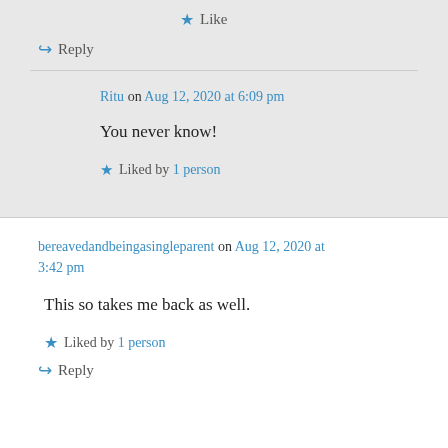★ Like
↪ Reply
Ritu on Aug 12, 2020 at 6:09 pm
You never know!
★ Liked by 1 person
bereavedandbeingasingleparent on Aug 12, 2020 at 3:42 pm
This so takes me back as well.
★ Liked by 1 person
↪ Reply